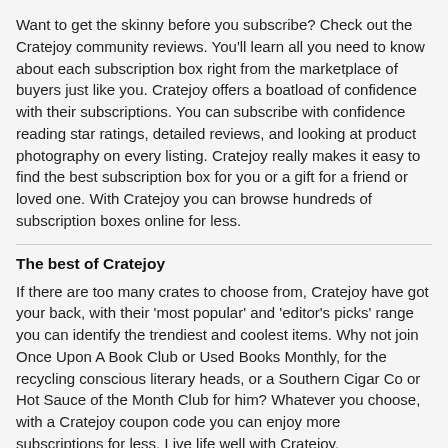Want to get the skinny before you subscribe? Check out the Cratejoy community reviews. You'll learn all you need to know about each subscription box right from the marketplace of buyers just like you. Cratejoy offers a boatload of confidence with their subscriptions. You can subscribe with confidence reading star ratings, detailed reviews, and looking at product photography on every listing. Cratejoy really makes it easy to find the best subscription box for you or a gift for a friend or loved one. With Cratejoy you can browse hundreds of subscription boxes online for less.
The best of Cratejoy
If there are too many crates to choose from, Cratejoy have got your back, with their 'most popular' and 'editor's picks' range you can identify the trendiest and coolest items. Why not join Once Upon A Book Club or Used Books Monthly, for the recycling conscious literary heads, or a Southern Cigar Co or Hot Sauce of the Month Club for him? Whatever you choose, with a Cratejoy coupon code you can enjoy more subscriptions for less. Live life well with Cratejoy.